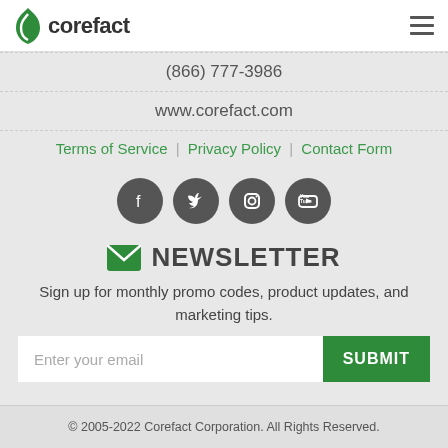corefact
(866) 777-3986
www.corefact.com
Terms of Service | Privacy Policy | Contact Form
[Figure (infographic): Four social media icon circles (Facebook, Twitter, Instagram, YouTube) in dark gray]
NEWSLETTER
Sign up for monthly promo codes, product updates, and marketing tips.
Enter your email  SUBMIT
© 2005-2022 Corefact Corporation. All Rights Reserved.